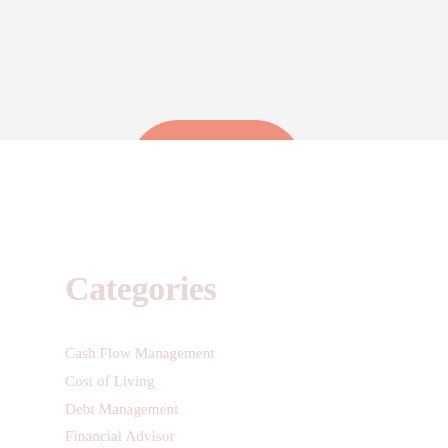Send Me Updates
Categories
Cash Flow Management
Cost of Living
Debt Management
Financial Advisor
Financial Management
Financial Planning